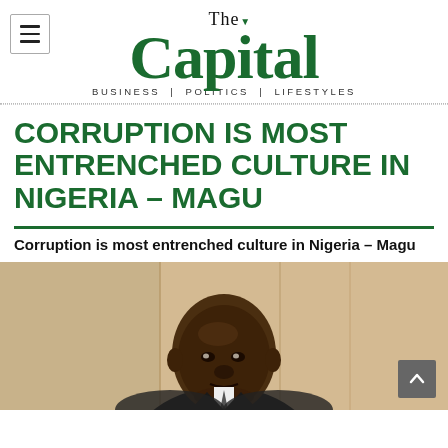The Capital — BUSINESS | POLITICS | LIFESTYLES
CORRUPTION IS MOST ENTRENCHED CULTURE IN NIGERIA – MAGU
Corruption is most entrenched culture in Nigeria – Magu
[Figure (photo): Photo of a man, partial view showing head and shoulders, background is warm-toned interior]